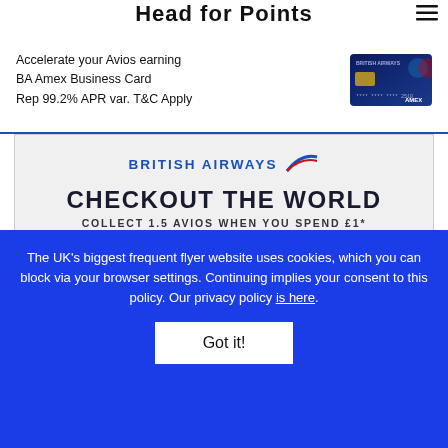Head for Points
[Figure (screenshot): BA Amex Business Card advertisement banner with credit card image. Text: Accelerate your Avios earning BA Amex Business Card Rep 99.2% APR var. T&C Apply]
[Figure (infographic): British Airways advertisement: CHECKOUT THE WORLD - COLLECT 1.5 AVIOS WHEN YOU SPEND £1* with BA Amex card image]
The UK's biggest frequent flyer website uses cookies, which you can block via your browser settings. Continuing implies your consent to this policy. Our privacy policy is here.
Got it!